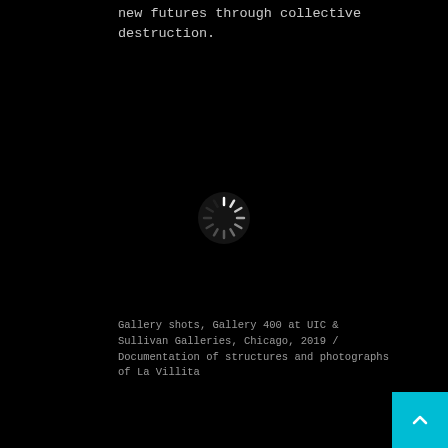new futures through collective destruction.
[Figure (other): Loading spinner / buffering wheel icon — white circular spinner on black background]
Gallery shots, Gallery 400 at UIC & Sullivan Galleries, Chicago, 2019 / Documentation of structures and photographs of La Villita
[Figure (other): Cyan/teal back-to-top button with upward chevron arrow in bottom-right corner]